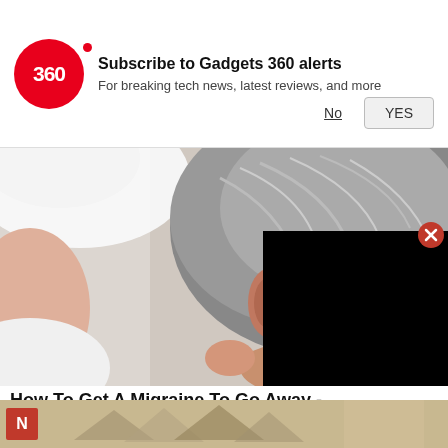[Figure (screenshot): Gadgets 360 push notification banner with red circular logo showing '360', title 'Subscribe to Gadgets 360 alerts', subtitle 'For breaking tech news, latest reviews, and more', with 'No' and 'YES' buttons]
[Figure (photo): Back of an older man's head with grey hair, hands around neck area, partially covered by a black video overlay in bottom-right corner with a red close button]
How To Get A Migraine To Go Away -
Migraine | Search Ads | Sponsored
[Figure (photo): Bottom strip showing a red 'N' logo box and a brownish/tan background with partial imagery]